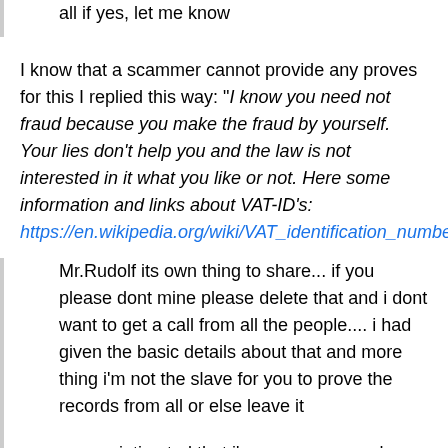all if yes, let me know
I know that a scammer cannot provide any proves for this I replied this way: "I know you need not fraud because you make the fraud by yourself. Your lies don't help you and the law is not interested in it what you like or not. Here some information and links about VAT-ID's: https://en.wikipedia.org/wiki/VAT_identification_number"
Mr.Rudolf its own thing to share... if you please dont mine please delete that and i dont want to get a call from all the people.... i had given the basic details about that and more thing i'm not the slave for you to prove the records from all or else leave it
no one intimated that i'm a scammer and non raise a complete on me and took your own decision to make your self Great work